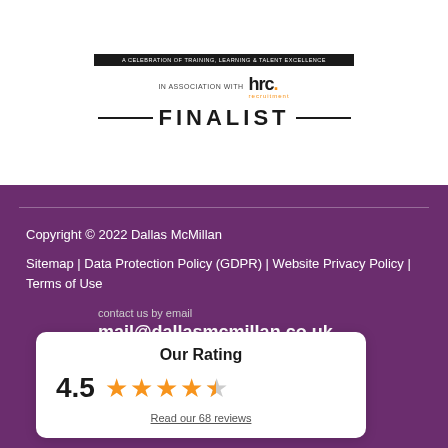[Figure (logo): Award finalist badge: dark banner reading 'A CELEBRATION OF TRAINING, LEARNING & TALENT EXCELLENCE', 'IN ASSOCIATION WITH hrc. recruitment', and '—FINALIST—']
Copyright © 2022 Dallas McMillan
Sitemap | Data Protection Policy (GDPR) | Website Privacy Policy | Terms of Use
contact us by email
mail@dallasmcmillan.co.uk
[Figure (infographic): Rating card showing 'Our Rating' with score 4.5 out of 5 stars (4 full stars and 1 half star) and link 'Read our 68 reviews']